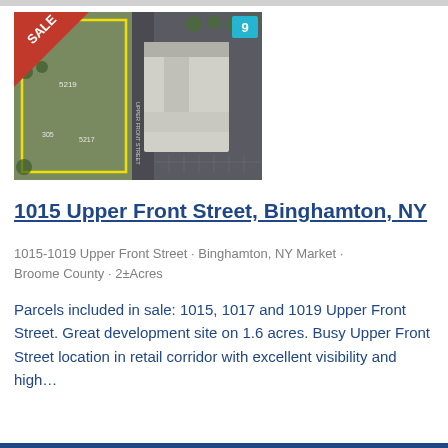[Figure (photo): Aerial satellite view of 1015 Upper Front Street property in Binghamton, NY, showing a large white commercial/industrial building with parking lot and adjacent parcels outlined in yellow. A red SALE banner is in the top-left corner and a teal number badge '9' is in the top-right corner.]
1015 Upper Front Street, Binghamton, NY
1015-1019 Upper Front Street · Binghamton, NY Market · Broome County · 2±Acres
Parcels included in sale: 1015, 1017 and 1019 Upper Front Street. Great development site on 1.6 acres. Busy Upper Front Street location in retail corridor with excellent visibility and high...